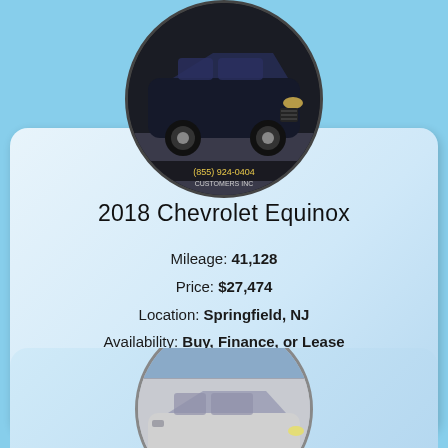[Figure (photo): Circular cropped photo of a dark navy 2018 Chevrolet Equinox SUV, shown from front-side angle, with phone number (855) 924-0404 and text 'Customers Inc' visible at bottom of image]
2018 Chevrolet Equinox
Mileage: 41,128
Price: $27,474
Location: Springfield, NJ
Availability: Buy, Finance, or Lease
Discuss Pricing with the Car Lot
Get Loan and Lease Payment
[Figure (photo): Circular cropped photo of a silver/grey sedan car, shown from front-side angle in a car lot setting]